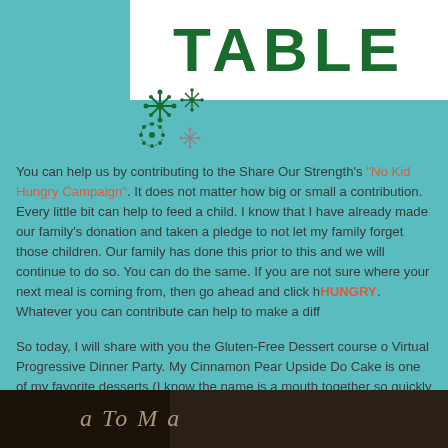[Figure (illustration): White box with the word TABLE in large dark green bold letters, with decorative snowflake graphics below it on a teal background]
You can help us by contributing to the Share Our Strength's "No Kid Hungry Campaign". It does not matter how big or small a contribution. Every little bit can help to feed a child.  I know that I have already made our family's donation and taken a pledge to not let my family forget those children. Our family has done this prior to this and we will continue to do so.  You can do the same. If you are not sure where your next meal is coming from, then go ahead and click here if you are HUNGRY.  Whatever you can contribute can help to make a difference.
So today, I will share with you the Gluten-Free Dessert course of our Virtual Progressive Dinner Party.  My Cinnamon Pear Upside Down Cake is one of my favorite desserts (I know the name is a mouthful) comes together so quickly and, before you know it, you have a dessert worthy of the most impressive of dinner parties.
I will not go on and on about the pleasures of this cake.  Just make it and enjoy it. I promise you.  It is not overly sweet. It is just right. Perf
[Figure (photo): A photo at the bottom showing a chalkboard or dark background with italic handwritten-style text, partially visible]